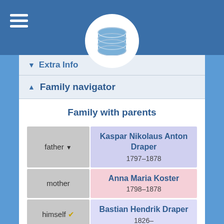[Figure (screenshot): Genealogy database app header with hamburger menu and database icon logo]
Extra Info
Family navigator
Family with parents
| Role | Person | Years |
| --- | --- | --- |
| father ▼ | Kaspar Nikolaus Anton Draper | 1797–1878 |
| mother | Anna Maria Koster | 1798–1878 |
| himself ✓ | Bastian Hendrik Draper | 1826– |
| younger | Karl Dominikus |  |